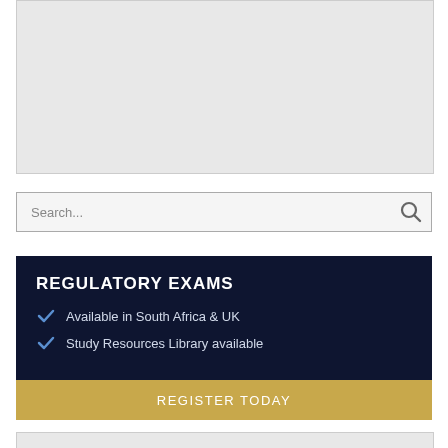[Figure (other): Gray placeholder/image box at the top of the page]
Search...
REGULATORY EXAMS
Available in South Africa & UK
Study Resources Library available
REGISTER TODAY